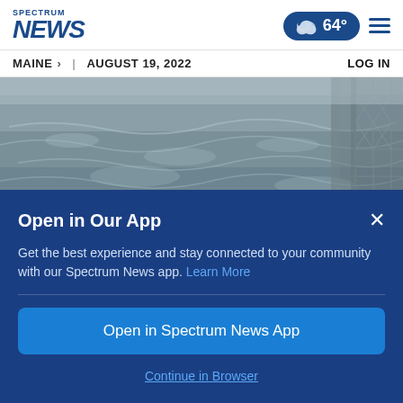SPECTRUM NEWS
MAINE > | AUGUST 19, 2022   LOG IN
[Figure (photo): Flooded water surface with ripples, chain-link fence visible at right edge]
Open in Our App
Get the best experience and stay connected to your community with our Spectrum News app. Learn More
Open in Spectrum News App
Continue in Browser